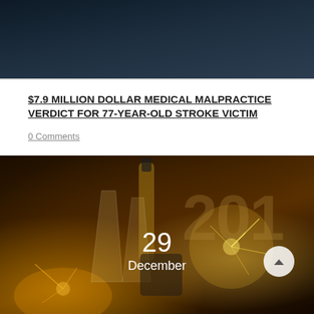[Figure (photo): Dark blue/grey textured background image at top of page]
$7.9 MILLION DOLLAR MEDICAL MALPRACTICE VERDICT FOR 77-YEAR-OLD STROKE VICTIM
0 Comments
[Figure (photo): New Year celebration photo with champagne flutes, a champagne bottle in an ice bucket, sparklers, and large '2018' text in the background. Date overlay shows '29 December'.]